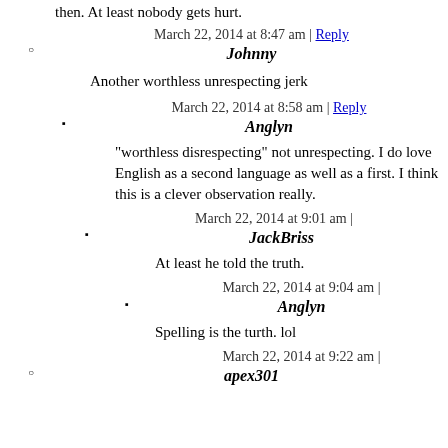...then. At least nobody gets hurt.
March 22, 2014 at 8:47 am | Reply
Johnny
Another worthless unrespecting jerk
March 22, 2014 at 8:58 am | Reply
Anglyn
"worthless disrespecting" not unrespecting. I do love English as a second language as well as a first. I think this is a clever observation really.
March 22, 2014 at 9:01 am |
JackBriss
At least he told the truth.
March 22, 2014 at 9:04 am |
Anglyn
Spelling is the turth. lol
March 22, 2014 at 9:22 am |
apex301